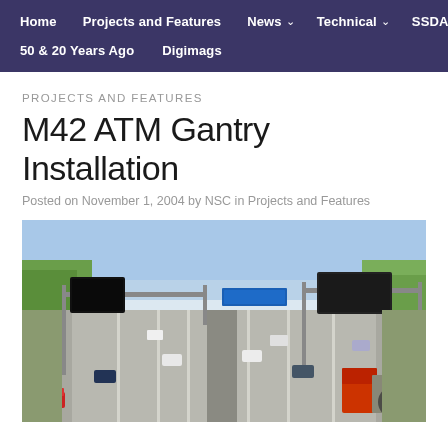Home | Projects and Features | News | Technical | SSDA | 50 & 20 Years Ago | Digimags
PROJECTS AND FEATURES
M42 ATM Gantry Installation
Posted on November 1, 2004 by NSC in Projects and Features
[Figure (photo): Aerial view of M42 motorway with ATM (Active Traffic Management) gantry structures spanning multiple lanes. Traffic including cars and a red truck visible. Gantry signs mounted overhead. Rural setting with green fields and trees.]